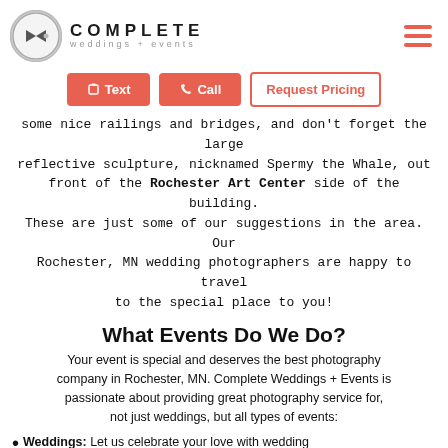Complete Weddings + Events — navigation header with logo and hamburger menu
[Figure (logo): Complete Weddings + Events logo: gray circle with play button and bow-tie icon, COMPLETE text in bold uppercase with weddings + events subtitle]
Text | Call | Request Pricing buttons
some nice railings and bridges, and don't forget the large reflective sculpture, nicknamed Spermy the Whale, out front of the Rochester Art Center side of the building. These are just some of our suggestions in the area. Our Rochester, MN wedding photographers are happy to travel to the special place to you!
What Events Do We Do?
Your event is special and deserves the best photography company in Rochester, MN. Complete Weddings + Events is passionate about providing great photography service for, not just weddings, but all types of events:
Weddings: Let us celebrate your love with wedding photos you'll cherish! Capture the big moments and all the